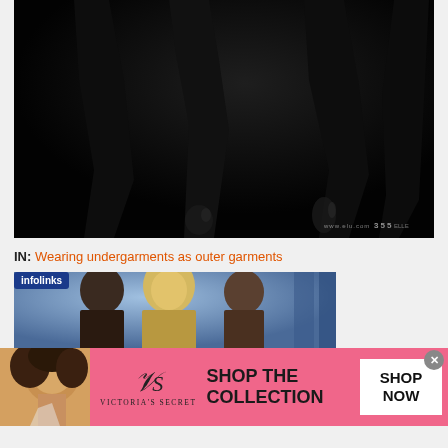[Figure (photo): Dark fashion photo showing silhouettes of models/legs in black, very dark moody lighting, with a watermark showing '355' in bottom right corner]
IN: Wearing undergarments as outer garments
[Figure (photo): Secondary fashion photo showing models with blonde and dark hair against a blue background, partially visible, with an infolinks badge overlay]
[Figure (photo): Victoria's Secret advertisement banner showing a model, the VS logo and text 'SHOP THE COLLECTION' with a 'SHOP NOW' button]